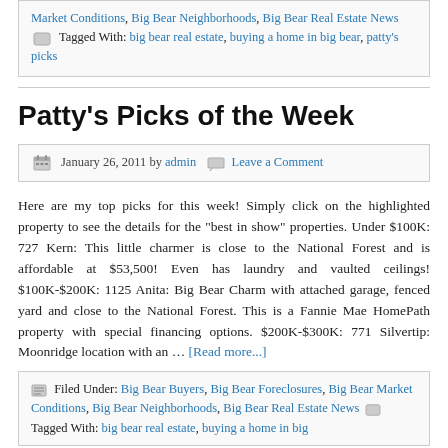Market Conditions, Big Bear Neighborhoods, Big Bear Real Estate News  Tagged With: big bear real estate, buying a home in big bear, patty's picks
Patty's Picks of the Week
January 26, 2011 by admin  Leave a Comment
Here are my top picks for this week! Simply click on the highlighted property to see the details for the "best in show" properties. Under $100K: 727 Kern: This little charmer is close to the National Forest and is affordable at $53,500! Even has laundry and vaulted ceilings! $100K-$200K: 1125 Anita: Big Bear Charm with attached garage, fenced yard and close to the National Forest. This is a Fannie Mae HomePath property with special financing options. $200K-$300K: 771 Silvertip: Moonridge location with an … [Read more...]
Filed Under: Big Bear Buyers, Big Bear Foreclosures, Big Bear Market Conditions, Big Bear Neighborhoods, Big Bear Real Estate News  Tagged With: big bear real estate, buying a home in big